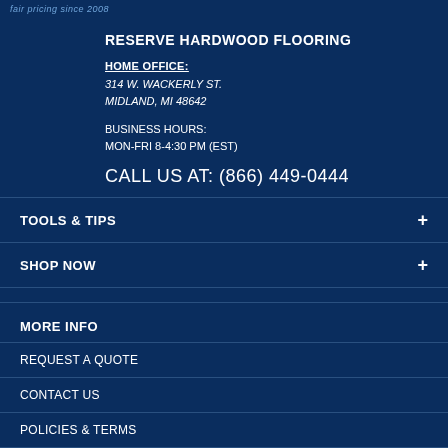fair pricing since 2008
RESERVE HARDWOOD FLOORING
HOME OFFICE:
314 W. WACKERLY ST.
MIDLAND, MI 48642
BUSINESS HOURS:
MON-FRI 8-4:30 PM (EST)
CALL US AT: (866) 449-0444
TOOLS & TIPS
SHOP NOW
MORE INFO
REQUEST A QUOTE
CONTACT US
POLICIES & TERMS
ABOUT US